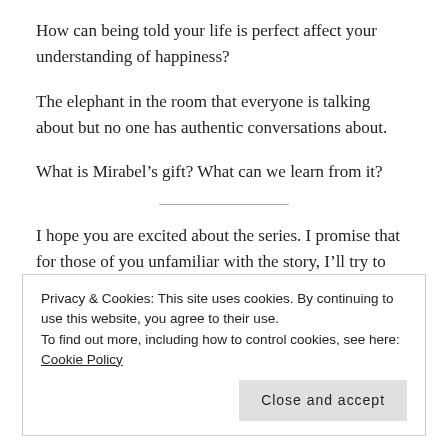How can being told your life is perfect affect your understanding of happiness?
The elephant in the room that everyone is talking about but no one has authentic conversations about.
What is Mirabel’s gift? What can we learn from it?
I hope you are excited about the series. I promise that for those of you unfamiliar with the story, I’ll try to make things as clear as possible so that you can also glean some wisdom and insights from this film. For this week, if you really want to dig into this series with
Privacy & Cookies: This site uses cookies. By continuing to use this website, you agree to their use.
To find out more, including how to control cookies, see here: Cookie Policy
Close and accept